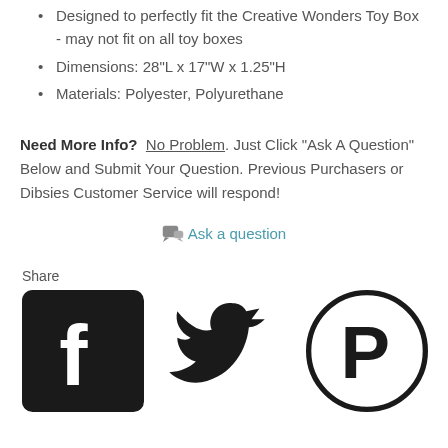Designed to perfectly fit the Creative Wonders Toy Box - may not fit on all toy boxes
Dimensions: 28"L x 17"W x 1.25"H
Materials: Polyester, Polyurethane
Need More Info?  No Problem. Just Click "Ask A Question" Below and Submit Your Question. Previous Purchasers or Dibsies Customer Service will respond!
Ask a question
Share
[Figure (illustration): Social media share icons: Facebook, Twitter, Pinterest]
Related products